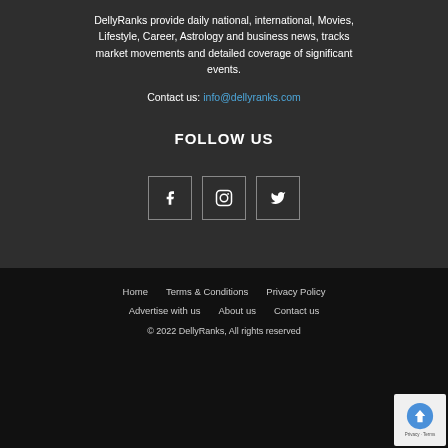DellyRanks provide daily national, international, Movies, Lifestyle, Career, Astrology and business news, tracks market movements and detailed coverage of significant events.
Contact us: info@dellyranks.com
FOLLOW US
[Figure (infographic): Three social media icon boxes: Facebook (f), Instagram (circle with inner square), Twitter (bird icon)]
Home   Terms & Conditions   Privacy Policy
Advertise with us   About us   Contact us
© 2022 DellyRanks, All rights reserved